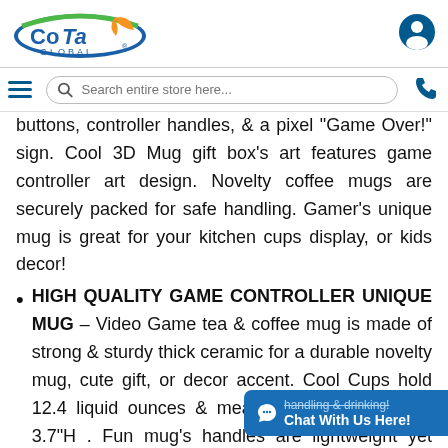CoTa Global (logo) | Search entire store here... | user icon | phone icon
buttons, controller handles, & a pixel 'Game Over!' sign. Cool 3D Mug gift box's art features game controller art design. Novelty coffee mugs are securely packed for safe handling. Gamer's unique mug is great for your kitchen cups display, or kids decor!
HIGH QUALITY GAME CONTROLLER UNIQUE MUG – Video Game tea & coffee mug is made of strong & sturdy thick ceramic for a durable novelty mug, cute gift, or decor accent. Cool Cups hold 12.4 liquid ounces & measure 6.3"L x 3.7"W x 3.7"H . Fun mug's handles are lightweight yet sturdy for easy handling & drinking! Maintain the beauty of this ceramic coffee mug...